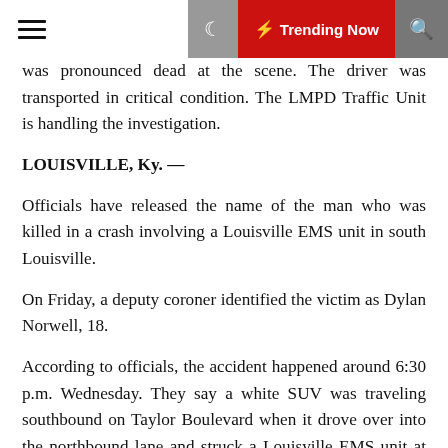☰ 🌙 ⚡ Trending Now 🔍
was pronounced dead at the scene. The driver was transported in critical condition. The LMPD Traffic Unit is handling the investigation.
LOUISVILLE, Ky. —
Officials have released the name of the man who was killed in a crash involving a Louisville EMS unit in south Louisville.
On Friday, a deputy coroner identified the victim as Dylan Norwell, 18.
According to officials, the accident happened around 6:30 p.m. Wednesday. They say a white SUV was traveling southbound on Taylor Boulevard when it drove over into the northbound lane and struck a Louisville EMS unit at the intersection of Bicknell Avenue.
Norwell, who was a passenger in the SUV was pronounced dead at the scene. The driver was transported in critical